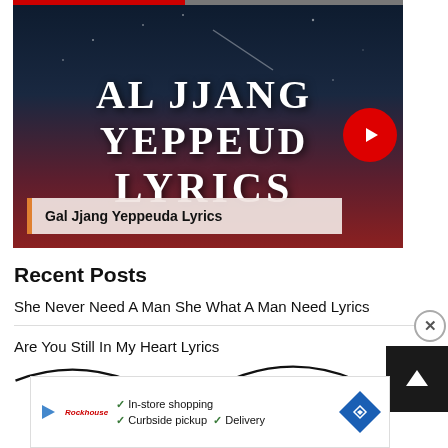[Figure (screenshot): Video thumbnail with dark night sky background, text 'AL JJANG YEPPEUDA LYRICS' in large white serif font, a red play button on right, progress bar at top, and a caption bar at bottom reading 'Gal Jjang Yeppeuda Lyrics']
Gal Jjang Yeppeuda Lyrics
Recent Posts
She Never Need A Man She What A Man Need Lyrics
Are You Still In My Heart Lyrics
[Figure (screenshot): Advertisement bar showing in-store shopping, curbside pickup, and delivery options with a navigation diamond icon]